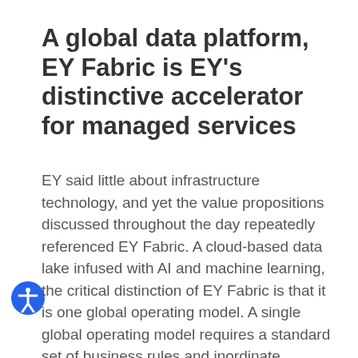A global data platform, EY Fabric is EY’s distinctive accelerator for managed services
EY said little about infrastructure technology, and yet the value propositions discussed throughout the day repeatedly referenced EY Fabric. A cloud-based data lake infused with AI and machine learning, the critical distinction of EY Fabric is that it is one global operating model. A single global operating model requires a standard set of business rules and inordinate amounts of data wrangling before any analytics can be applied against the data for business insights.